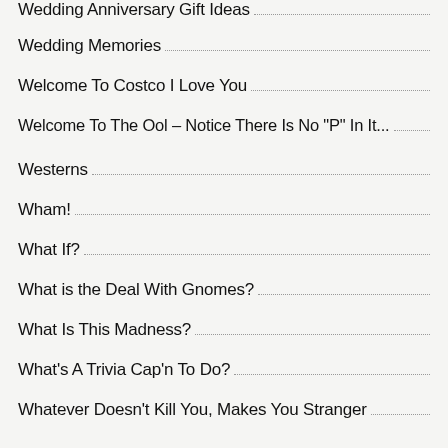Wedding Anniversary Gift Ideas
Wedding Memories
Welcome To Costco I Love You
Welcome To The Ool – Notice There Is No "P" In It...
Westerns
Wham!
What If?
What is the Deal With Gnomes?
What Is This Madness?
What's A Trivia Cap'n To Do?
Whatever Doesn't Kill You, Makes You Stranger